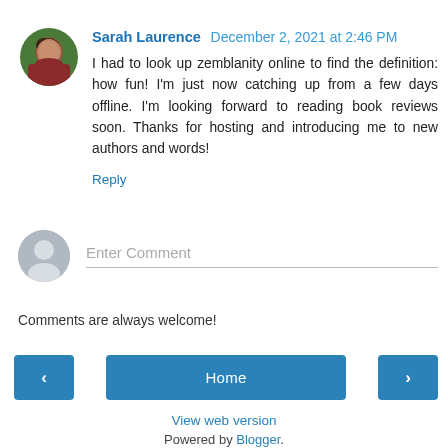[Figure (photo): Small circular avatar photo of Sarah Laurence, a woman with dark curly hair wearing a red/maroon top, with a green background]
Sarah Laurence  December 2, 2021 at 2:46 PM
I had to look up zemblanity online to find the definition: how fun! I'm just now catching up from a few days offline. I'm looking forward to reading book reviews soon. Thanks for hosting and introducing me to new authors and words!
Reply
[Figure (illustration): Generic grey user avatar silhouette icon in a circle]
Enter Comment
Comments are always welcome!
‹
Home
›
View web version
Powered by Blogger.